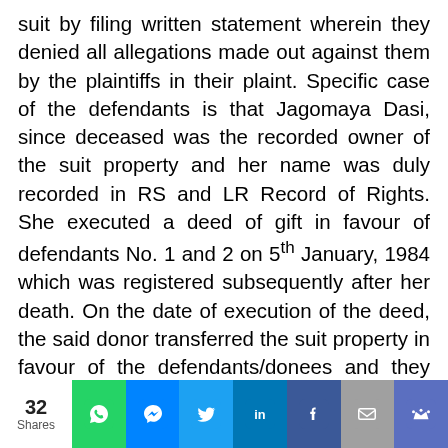suit by filing written statement wherein they denied all allegations made out against them by the plaintiffs in their plaint. Specific case of the defendants is that Jagomaya Dasi, since deceased was the recorded owner of the suit property and her name was duly recorded in RS and LR Record of Rights. She executed a deed of gift in favour of defendants No. 1 and 2 on 5th January, 1984 which was registered subsequently after her death. On the date of execution of the deed, the said donor transferred the suit property in favour of the defendants/donees and they accepted the gift. It is further pleaded by the defendants that during her life time, Jagomaya Dasi used to stay with the defendants. After her death, the defendants performed her last rituals
32 Shares